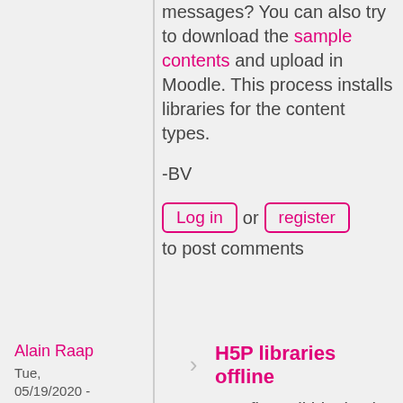messages? You can also try to download the sample contents and upload in Moodle. This process installs libraries for the content types.
-BV
Log in or register to post comments
Alain Raap
Tue, 05/19/2020 - 15:32
permalink
H5P libraries offline
Our firewall blocks the